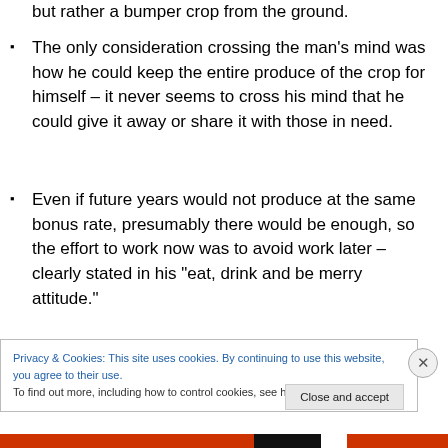but rather a bumper crop from the ground.
The only consideration crossing the man's mind was how he could keep the entire produce of the crop for himself – it never seems to cross his mind that he could give it away or share it with those in need.
Even if future years would not produce at the same bonus rate, presumably there would be enough, so the effort to work now was to avoid work later – clearly stated in his "eat, drink and be merry attitude."
There is nothing to be taken from this passage to
Privacy & Cookies: This site uses cookies. By continuing to use this website, you agree to their use.
To find out more, including how to control cookies, see here: Cookie Policy